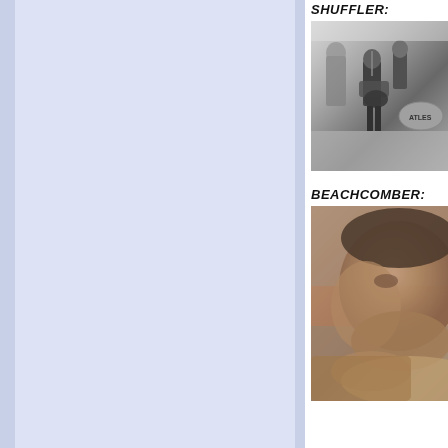SHUFFLER:
[Figure (photo): Black and white photo of The Beatles performing on stage, with a band member playing guitar in foreground and drum kit with 'ATLES' (Beatles) visible in background.]
BEACHCOMBER:
[Figure (photo): Color close-up photo of a man's face, blurred, appearing to be outdoors or near water.]